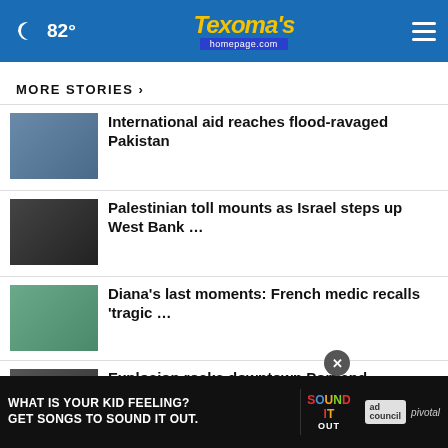🌙 82° — Texoma's homepage.com
MORE STORIES >
International aid reaches flood-ravaged Pakistan
Palestinian toll mounts as Israel steps up West Bank …
Diana's last moments: French medic recalls 'tragic …
Explosion rocks downtown Portland food cart pod, …
… campaign for Texas governor
[Figure (screenshot): Ad banner: WHAT IS YOUR KID FEELING? GET SONGS TO SOUND IT OUT. with Sound It Out and ad council / pivotal logos]